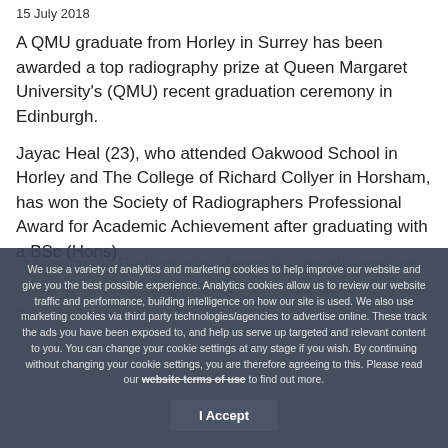15 July 2018
A QMU graduate from Horley in Surrey has been awarded a top radiography prize at Queen Margaret University's (QMU) recent graduation ceremony in Edinburgh.
Jayac Heal (23), who attended Oakwood School in Horley and The College of Richard Collyer in Horsham, has won the Society of Radiographers Professional Award for Academic Achievement after graduating with a BSc (Hons)
We use a variety of analytics and marketing cookies to help improve our website and give you the best possible experience. Analytics cookies allow us to review our website traffic and performance, building intelligence on how our site is used. We also use marketing cookies via third party technologies/agencies to advertise online. These track the ads you have been exposed to, and help us serve up targeted and relevant content to you. You can change your cookie settings at any stage if you wish. By continuing without changing your cookie settings, you are therefore agreeing to this. Please read our website terms of use to find out more.